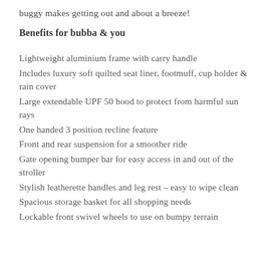buggy makes getting out and about a breeze!
Benefits for bubba & you
Lightweight aluminium frame with carry handle
Includes luxury soft quilted seat liner, footmuff, cup holder & rain cover
Large extendable UPF 50 hood to protect from harmful sun rays
One handed 3 position recline feature
Front and rear suspension for a smoother ride
Gate opening bumper bar for easy access in and out of the stroller
Stylish leatherette handles and leg rest – easy to wipe clean
Spacious storage basket for all shopping needs
Lockable front swivel wheels to use on bumpy terrain